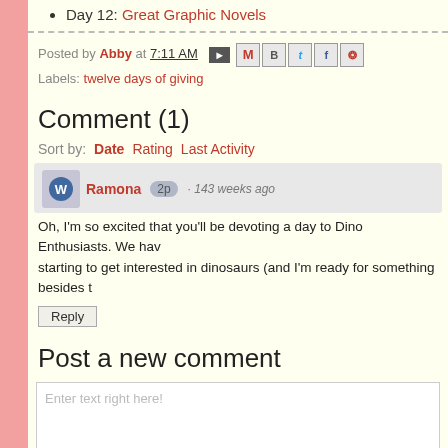Day 12: Great Graphic Novels
Posted by Abby at 7:11 AM
Labels: twelve days of giving
Comment (1)
Sort by: Date  Rating  Last Activity
Ramona  2p · 143 weeks ago
Oh, I'm so excited that you'll be devoting a day to Dino Enthusiasts. We have a son who is starting to get interested in dinosaurs (and I'm ready for something besides t
Reply
Post a new comment
Enter text right here!